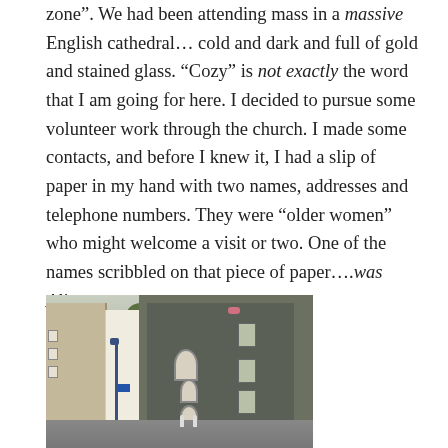zone". We had been attending mass in a massive English cathedral… cold and dark and full of gold and stained glass. "Cozy" is not exactly the word that I am going for here. I decided to pursue some volunteer work through the church. I made some contacts, and before I knew it, I had a slip of paper in my hand with two names, addresses and telephone numbers. They were "older women" who might welcome a visit or two. One of the names scribbled on that piece of paper….was Alice.
[Figure (photo): A narrow English alley or mews with old brick buildings. A dark stone building with arched windows is on the right, a lighter building on the left, a lamppost in the middle, cobblestone or paved ground, trees in the background.]